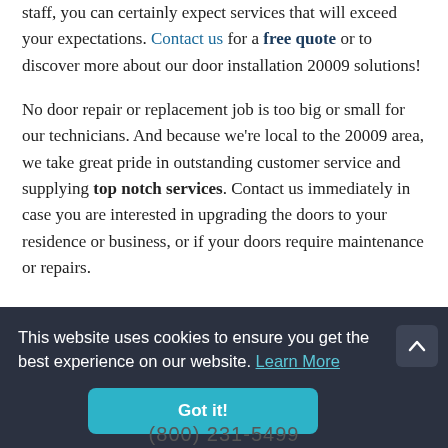staff, you can certainly expect services that will exceed your expectations. Contact us for a free quote or to discover more about our door installation 20009 solutions!
No door repair or replacement job is too big or small for our technicians. And because we're local to the 20009 area, we take great pride in outstanding customer service and supplying top notch services. Contact us immediately in case you are interested in upgrading the doors to your residence or business, or if your doors require maintenance or repairs.
This website uses cookies to ensure you get the best experience on our website. Learn More
Got it!
(800) 231-5499